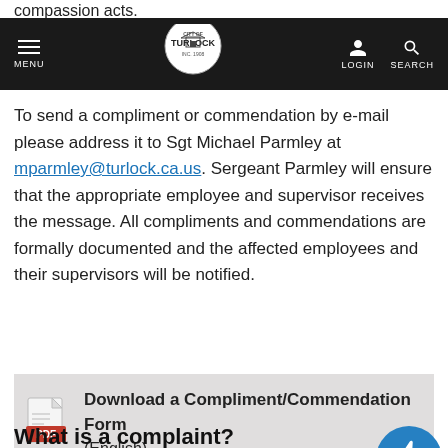compassion acts.
MENU | TURLOCK | LOGIN | SEARCH
To send a compliment or commendation by e-mail please address it to Sgt Michael Parmley at mparmley@turlock.ca.us. Sergeant Parmley will ensure that the appropriate employee and supervisor receives the message. All compliments and commendations are formally documented and the affected employees and their supervisors will be notified.
Download a Compliment/Commendation Form (English)
What is a complaint?